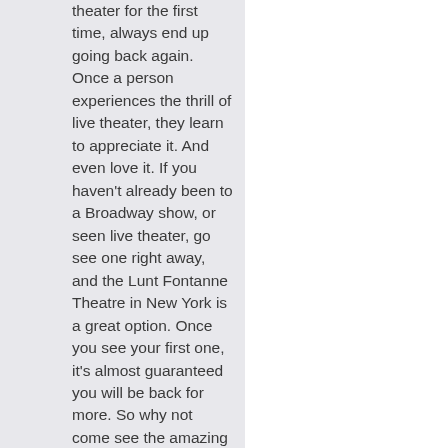theater for the first time, always end up going back again. Once a person experiences the thrill of live theater, they learn to appreciate it. And even love it. If you haven't already been to a Broadway show, or seen live theater, go see one right away, and the Lunt Fontanne Theatre in New York is a great option. Once you see your first one, it's almost guaranteed you will be back for more. So why not come see the amazing TINA – The Tina Turner